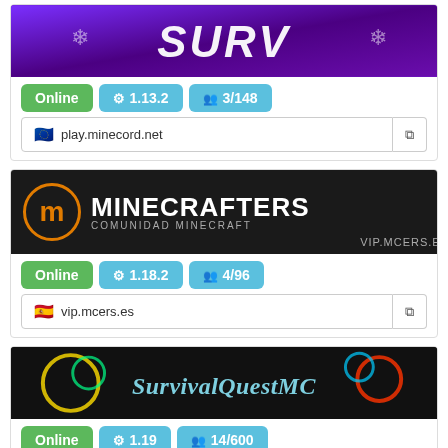[Figure (screenshot): Minecraft server banner with purple background and 'SURV' text]
Online  1.13.2  3/148
🇪🇺 play.minecord.net
[Figure (screenshot): Minecrafters Comunidad Minecraft server banner - VIP.MCERS.ES]
Online  1.18.2  4/96
🇪🇸 vip.mcers.es
[Figure (screenshot): SurvivalQuestMC server banner with colorful text]
Online  1.19  14/600
🇺🇸 mc.survivalquest.net
[Figure (screenshot): RubberVoltz SMP server banner with cyan and red text]